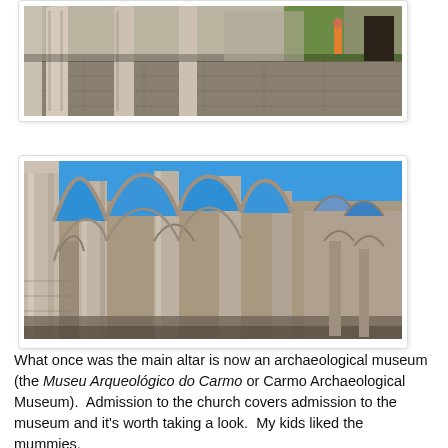[Figure (photo): Partial view of a historic stone building or church courtyard with stone pillars and columns visible, a person in orange visible in the background, taken from below looking up slightly.]
[Figure (photo): Interior view of the Carmo Church ruins in Lisbon, Portugal, showing tall Gothic stone arches and columns open to a vivid blue sky, photographed from a low angle.]
What once was the main altar is now an archaeological museum (the Museu Arqueológico do Carmo or Carmo Archaeological Museum).  Admission to the church covers admission to the museum and it's worth taking a look.  My kids liked the mummies.